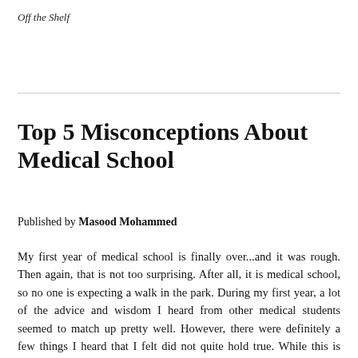Off the Shelf
Top 5 Misconceptions About Medical School
Published by Masood Mohammed
My first year of medical school is finally over...and it was rough. Then again, that is not too surprising. After all, it is medical school, so no one is expecting a walk in the park. During my first year, a lot of the advice and wisdom I heard from other medical students seemed to match up pretty well. However, there were definitely a few things I heard that I felt did not quite hold true. While this is only my opinion and it may vary from student to student, here are my top five biggest misconceptions...